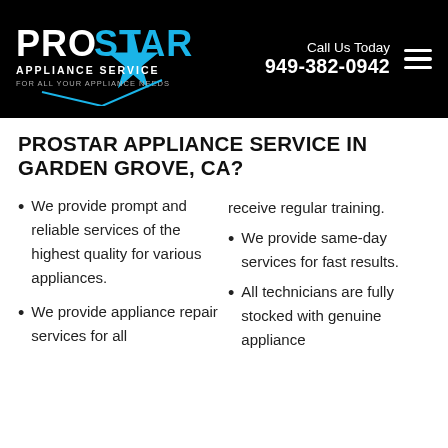PROSTAR APPLIANCE SERVICE FOR ALL YOUR APPLIANCE NEEDS | Call Us Today 949-382-0942
PROSTAR APPLIANCE SERVICE IN GARDEN GROVE, CA?
We provide prompt and reliable services of the highest quality for various appliances.
We provide appliance repair services for all
receive regular training.
We provide same-day services for fast results.
All technicians are fully stocked with genuine appliance